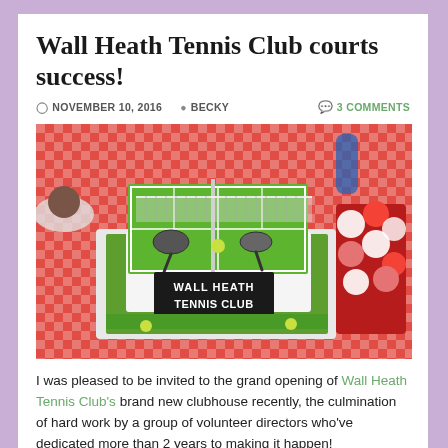Wall Heath Tennis Club courts success!
NOVEMBER 10, 2016  BECKY  3 COMMENTS
[Figure (photo): A tennis-court-themed celebration cake decorated with miniature tennis rackets, yellow balls, a white net, green court markings, and a black sign reading WALL HEATH TENNIS CLUB, surrounded by cupcakes on a red gingham tablecloth.]
I was pleased to be invited to the grand opening of Wall Heath Tennis Club's brand new clubhouse recently, the culmination of hard work by a group of volunteer directors who've dedicated more than 2 years to making it happen!